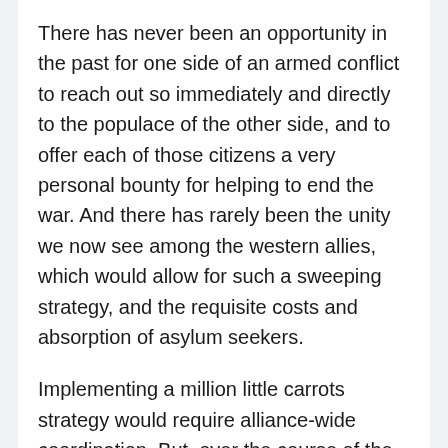There has never been an opportunity in the past for one side of an armed conflict to reach out so immediately and directly to the populace of the other side, and to offer each of those citizens a very personal bounty for helping to end the war. And there has rarely been the unity we now see among the western allies, which would allow for such a sweeping strategy, and the requisite costs and absorption of asylum seekers.
Implementing a million little carrots strategy would require alliance-wide coordination. But, over the course of the first week of this war we have learned our leaders, our parliaments, and our governments are capable of moving extremely fast and moving together when the